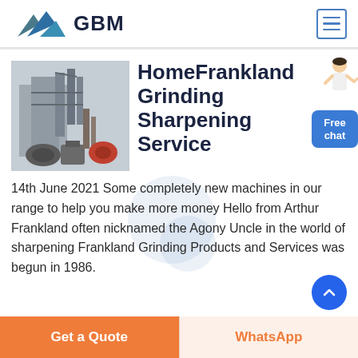[Figure (logo): GBM logo with blue mountain/arrow graphic and bold GBM text]
HomeFrankland Grinding Sharpening Service
[Figure (photo): Industrial grinding/dust collection equipment at a facility]
14th June 2021 Some completely new machines in our range to help you make more money Hello from Arthur Frankland often nicknamed the Agony Uncle in the world of sharpening Frankland Grinding Products and Services was begun in 1986.